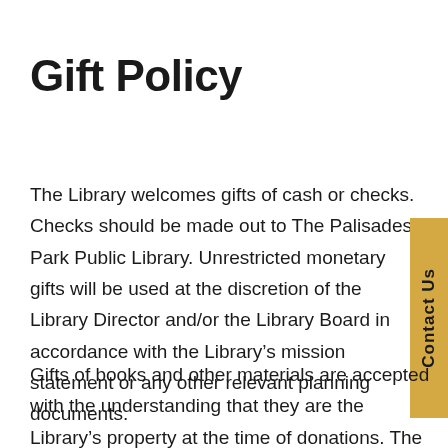Gift Policy
The Library welcomes gifts of cash or checks. Checks should be made out to The Palisades Park Public Library. Unrestricted monetary gifts will be used at the discretion of the Library Director and/or the Library Board in accordance with the Library’s mission statement or any other relevant planning documents.
Gifts of books and other materials are accepted with the understanding that they are the Library’s property at the time of donations. The materials may be used or disposed of at the Library’s discretion. The Library will accept no gift(s) unless it is freely given to the extent